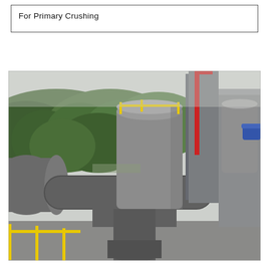For Primary Crushing
[Figure (photo): Industrial crushing/processing plant facility photographed from an elevated angle. Large grey cylindrical silos and storage tanks are visible in the center and right. Large grey ducts and pipes curve in the foreground. Yellow safety railings are visible at the bottom. Green forested mountains and hazy sky appear in the background on the left.]